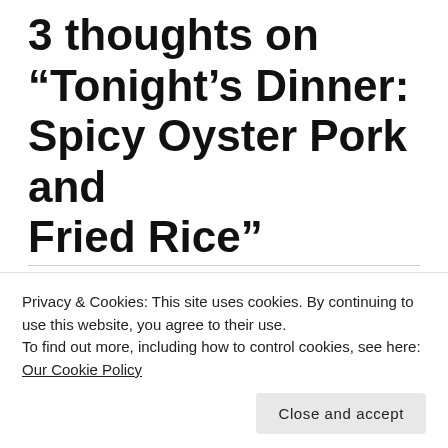3 thoughts on “Tonight’s Dinner: Spicy Oyster Pork and Fried Rice”
Patricia Grayson
Privacy & Cookies: This site uses cookies. By continuing to use this website, you agree to their use.
To find out more, including how to control cookies, see here: Our Cookie Policy
Close and accept